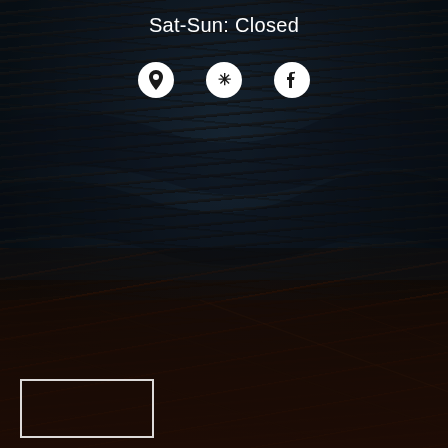[Figure (photo): Dark background image showing what appears to be dark rocky water or a dark textured surface in the upper portion, transitioning to a dark wooden floor in the lower portion. Very low-key, moody dark photography.]
Sat-Sun: Closed
[Figure (infographic): Three white circular social/map icons: a location pin (Google Maps or similar), a Yelp logo, and a Facebook logo, displayed in a row on the dark background.]